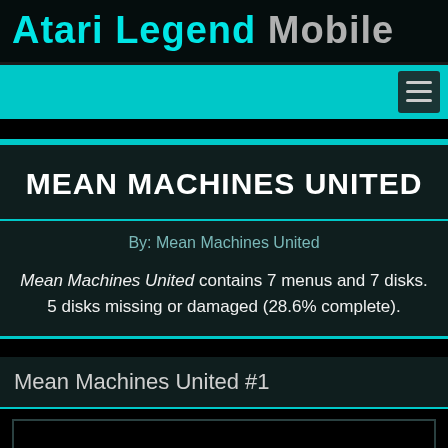Atari Legend Mobile
By: Mean Machines United
MEAN MACHINES UNITED
Mean Machines United contains 7 menus and 7 disks. 5 disks missing or damaged (28.6% complete).
Mean Machines United #1
[Figure (other): Black image/screenshot area for Mean Machines United #1]